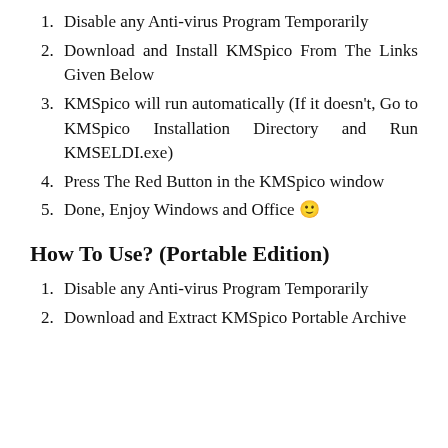Disable any Anti-virus Program Temporarily
Download and Install KMSpico From The Links Given Below
KMSpico will run automatically (If it doesn't, Go to KMSpico Installation Directory and Run KMSELDI.exe)
Press The Red Button in the KMSpico window
Done, Enjoy Windows and Office 🙂
How To Use? (Portable Edition)
Disable any Anti-virus Program Temporarily
Download and Extract KMSpico Portable Archive